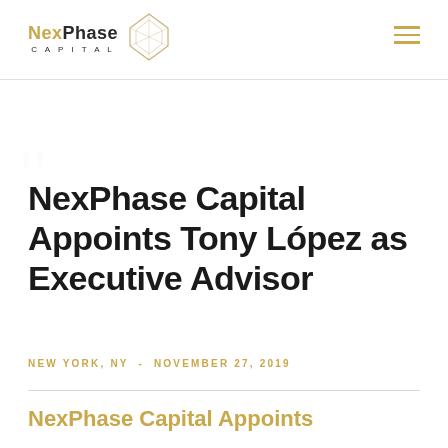NexPhase Capital
NexPhase Capital Appoints Tony López as Executive Advisor
NEW YORK, NY  -  NOVEMBER 27, 2019
NexPhase Capital Appoints